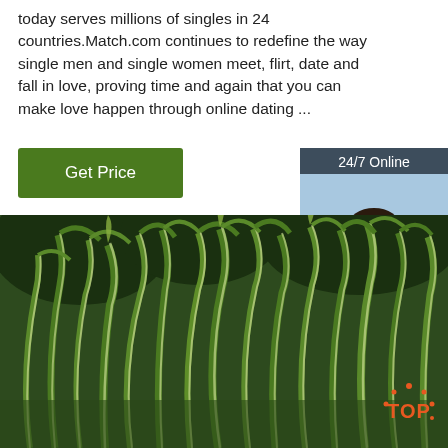today serves millions of singles in 24 countries.Match.com continues to redefine the way single men and single women meet, flirt, date and fall in love, proving time and again that you can make love happen through online dating ...
Get Price
24/7 Online
[Figure (photo): Woman with headset smiling, customer service representative]
Click here for free chat !
QUOTATION
[Figure (photo): Tall green and white variegated grass plants in a garden setting]